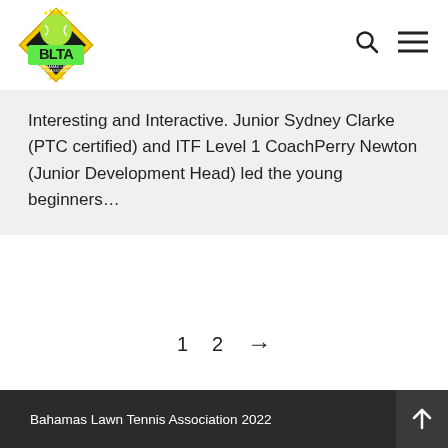BLTA - Bahamas Lawn Tennis Association
Interesting and Interactive. Junior Sydney Clarke (PTC certified) and ITF Level 1 CoachPerry Newton (Junior Development Head) led the young beginners…
1  2  →
Bahamas Lawn Tennis Association 2022